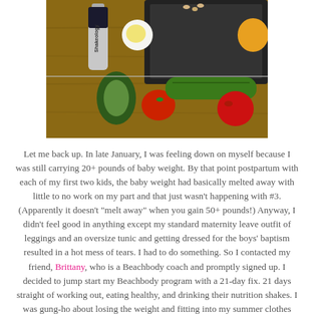[Figure (photo): Overhead photo of vegetables, fruits, a Shakeology bottle, and a tablet on a wooden surface]
Let me back up.  In late January, I was feeling down on myself because I was still carrying 20+ pounds of baby weight.  By that point postpartum with each of my first two kids, the baby weight had basically melted away with little to no work on my part and that just wasn't happening with #3.  (Apparently it doesn't "melt away" when you gain 50+ pounds!)  Anyway, I didn't feel good in anything except my standard maternity leave outfit of leggings and an oversize tunic and getting dressed for the boys' baptism resulted in a hot mess of tears.  I had to do something.  So I contacted my friend, Brittany, who is a Beachbody coach and promptly signed up.  I decided to jump start my Beachbody program with a 21-day fix.  21 days straight of working out, eating healthy, and drinking their nutrition shakes.  I was gung-ho about losing the weight and fitting into my summer clothes